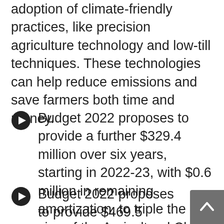adoption of climate-friendly practices, like precision agriculture technology and low-till techniques. These technologies can help reduce emissions and save farmers both time and money.
Budget 2022 proposes to provide a further $329.4 million over six years, starting in 2022-23, with $0.6 million in remaining amortization, to triple the size of the Agricultural Clean Technology Program.
Budget 2022 proposes to provide $469.5 million over six years, with $0.5